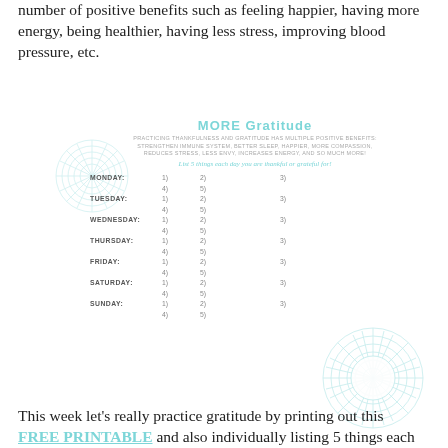number of positive benefits such as feeling happier, having more energy, being healthier, having less stress, improving blood pressure, etc.
[Figure (infographic): MORE Gratitude printable weekly tracker. Header text: PRACTICING THANKFULNESS AND GRATITUDE HAS MULTIPLE POSITIVE BENEFITS: STRENGTHEN IMMUNE SYSTEM, BETTER SLEEP, HAPPIER, MORE COMPASSION, REDUCES STRESS, LESS ENVY, INCREASES ENERGY, AND SO MUCH MORE! Tagline: List 5 things each day you are thankful or grateful for! Days of the week (Monday through Sunday) each with numbered slots 1-5 arranged in two rows. Decorative teal mandala/flower design in background.]
This week let's really practice gratitude by printing out this FREE PRINTABLE and also individually listing 5 things each